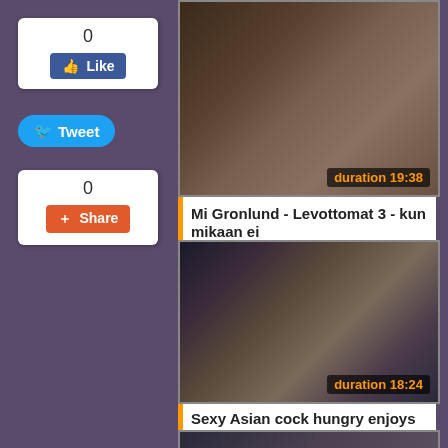[Figure (screenshot): Like button widget with count 0 and blue Facebook Like button]
[Figure (screenshot): Blue Twitter Tweet button]
[Figure (screenshot): Share widget with count 0 and orange Share button]
[Figure (screenshot): Video thumbnail showing indoor scene, duration 19:38]
Mi Gronlund - Levottomat 3 - kun mikaan ei
[Figure (screenshot): Video thumbnail showing adult content scene in store, duration 18:24]
Sexy Asian cock hungry enjoys anal at a
[Figure (screenshot): Partial video thumbnail at bottom of page]